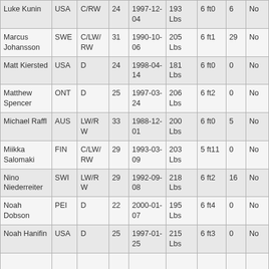| Luke Kunin | USA | C/RW | 24 | 1997-12-04 | 193 Lbs | 6 ft0 | 6 | No |
| Marcus Johansson | SWE | C/LW/RW | 31 | 1990-10-06 | 205 Lbs | 6 ft1 | 29 | No |
| Matt Kiersted | USA | D | 24 | 1998-04-14 | 181 Lbs | 6 ft0 | 0 | No |
| Matthew Spencer | ONT | D | 25 | 1997-03-24 | 206 Lbs | 6 ft2 | 0 | No |
| Michael Raffl | AUS | LW/RW | 33 | 1988-12-01 | 200 Lbs | 6 ft0 | 5 | No |
| Miikka Salomaki | FIN | C/LW/RW | 29 | 1993-03-09 | 203 Lbs | 5 ft11 | 0 | No |
| Nino Niederreiter | SWI | LW/RW | 29 | 1992-09-08 | 218 Lbs | 6 ft2 | 16 | No |
| Noah Dobson | PEI | D | 22 | 2000-01-07 | 195 Lbs | 6 ft4 | 0 | No |
| Noah Hanifin | USA | D | 25 | 1997-01-25 | 215 Lbs | 6 ft3 | 0 | No |